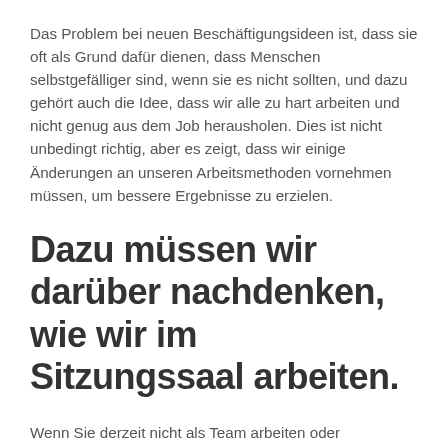Das Problem bei neuen Beschäftigungsideen ist, dass sie oft als Grund dafür dienen, dass Menschen selbstgefälliger sind, wenn sie es nicht sollten, und dazu gehört auch die Idee, dass wir alle zu hart arbeiten und nicht genug aus dem Job herausholen. Dies ist nicht unbedingt richtig, aber es zeigt, dass wir einige Änderungen an unseren Arbeitsmethoden vornehmen müssen, um bessere Ergebnisse zu erzielen.
Dazu müssen wir darüber nachdenken, wie wir im Sitzungssaal arbeiten.
Wenn Sie derzeit nicht als Team arbeiten oder